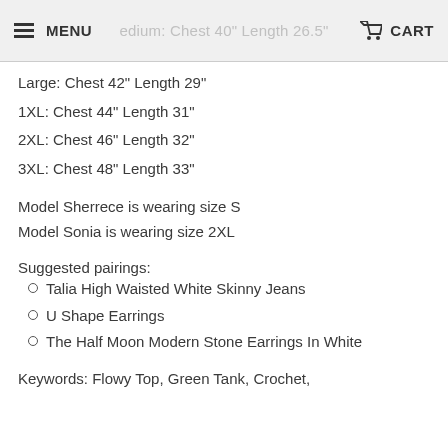MENU   edium: Chest 40" Length 26.5"   CART
Large: Chest 42" Length 29"
1XL: Chest 44" Length 31"
2XL: Chest 46" Length 32"
3XL: Chest 48" Length 33"
Model Sherrece is wearing size S
Model Sonia is wearing size 2XL
Suggested pairings:
Talia High Waisted White Skinny Jeans
U Shape Earrings
The Half Moon Modern Stone Earrings In White
Keywords: Flowy Top, Green Tank, Crochet,